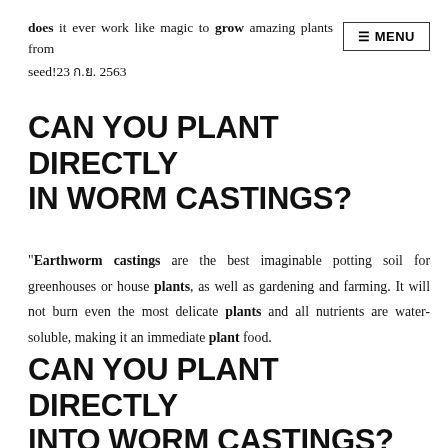does it ever work like magic to grow amazing plants from seed!23 ก.ย. 2563
CAN YOU PLANT DIRECTLY IN WORM CASTINGS?
"Earthworm castings are the best imaginable potting soil for greenhouses or house plants, as well as gardening and farming. It will not burn even the most delicate plants and all nutrients are water-soluble, making it an immediate plant food.
CAN YOU PLANT DIRECTLY INTO WORM CASTINGS?